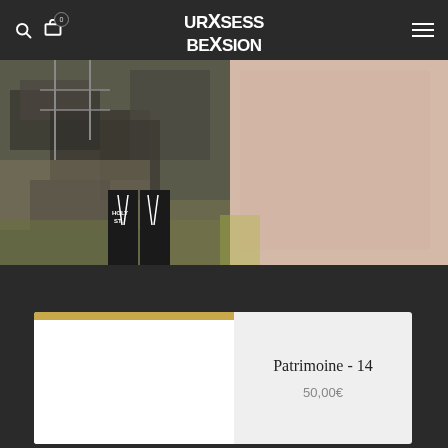URXSESSION BEXSION — search, cart (0), menu navigation
[Figure (photo): A product photo showing a person wearing dark sweatpants with white drawstrings, standing in front of a large print/photo of an abandoned industrial or demolished building scene. The right portion shows a pink/beige wall.]
[Figure (photo): Product card showing a partial image thumbnail on the left (white/light background) and product info panel on the right.]
Patrimoine - 14
50,00€